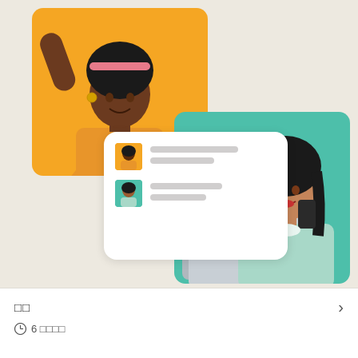[Figure (illustration): Illustration showing two women: one with raised arm on a yellow background card (top left), and one holding a phone over a laptop on a teal background card (right). Between them is a white chat bubble showing two user rows with avatar icons and grey text placeholder lines.]
□□
⊙ 6 □□□□